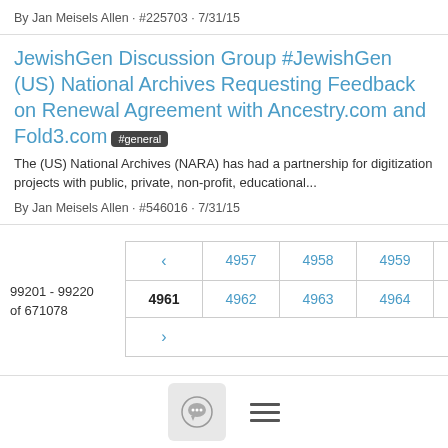By Jan Meisels Allen · #225703 · 7/31/15
JewishGen Discussion Group #JewishGen (US) National Archives Requesting Feedback on Renewal Agreement with Ancestry.com and Fold3.com #general
The (US) National Archives (NARA) has had a partnership for digitization projects with public, private, non-profit, educational...
By Jan Meisels Allen · #546016 · 7/31/15
99201 - 99220 of 671078
< 4957 4958 4959 4960 4961 4962 4963 4964 4965 >